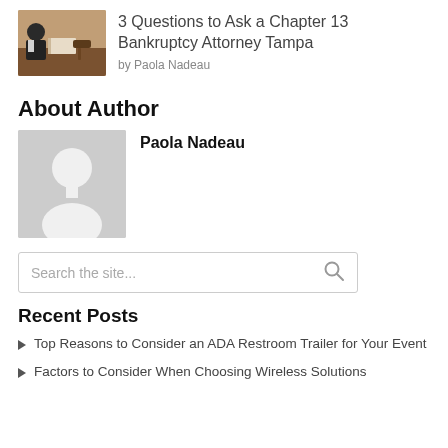[Figure (photo): Thumbnail image of a judge or attorney with a gavel and book on a desk]
3 Questions to Ask a Chapter 13 Bankruptcy Attorney Tampa
by Paola Nadeau
About Author
[Figure (photo): Generic grey silhouette avatar placeholder image for author Paola Nadeau]
Paola Nadeau
Search the site...
Recent Posts
Top Reasons to Consider an ADA Restroom Trailer for Your Event
Factors to Consider When Choosing Wireless Solutions